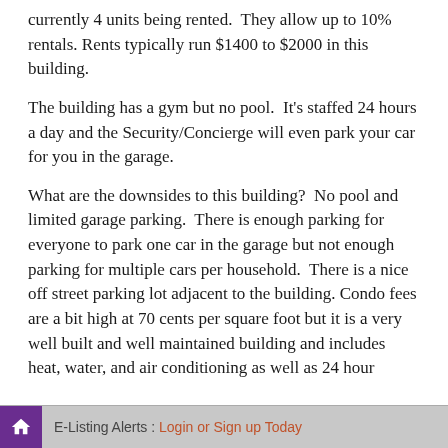currently 4 units being rented.  They allow up to 10% rentals. Rents typically run $1400 to $2000 in this building.
The building has a gym but no pool.  It's staffed 24 hours a day and the Security/Concierge will even park your car for you in the garage.
What are the downsides to this building?  No pool and limited garage parking.  There is enough parking for everyone to park one car in the garage but not enough parking for multiple cars per household.  There is a nice off street parking lot adjacent to the building. Condo fees are a bit high at 70 cents per square foot but it is a very well built and well maintained building and includes heat, water, and air conditioning as well as 24 hour
E-Listing Alerts : Login or Sign up Today